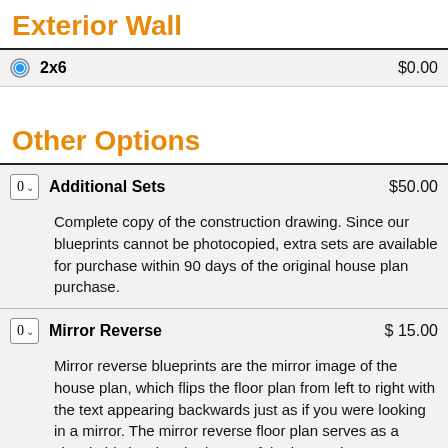Exterior Wall
2x6  $0.00
Other Options
Additional Sets  $50.00
Complete copy of the construction drawing. Since our blueprints cannot be photocopied, extra sets are available for purchase within 90 days of the original house plan purchase.
Mirror Reverse  $15.00
Mirror reverse blueprints are the mirror image of the house plan, which flips the floor plan from left to right with the text appearing backwards just as if you were looking in a mirror. The mirror reverse floor plan serves as a visual aid showing the layout of the house the way you plan to build it and also shows